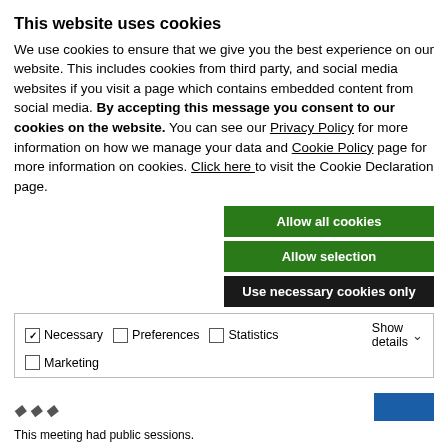This website uses cookies
We use cookies to ensure that we give you the best experience on our website. This includes cookies from third party, and social media websites if you visit a page which contains embedded content from social media. By accepting this message you consent to our cookies on the website. You can see our Privacy Policy for more information on how we manage your data and Cookie Policy page for more information on cookies. Click here to visit the Cookie Declaration page.
[Figure (screenshot): Three buttons: 'Allow all cookies' (green), 'Allow selection' (green), 'Use necessary cookies only' (dark/black)]
Necessary  Preferences  Statistics  Marketing  Show details
This meeting had public sessions.